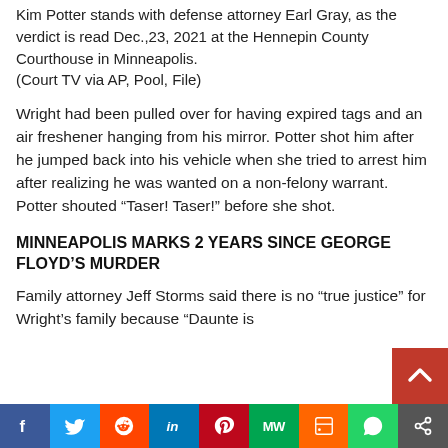Kim Potter stands with defense attorney Earl Gray, as the verdict is read Dec.,23, 2021 at the Hennepin County Courthouse in Minneapolis.
(Court TV via AP, Pool, File)
Wright had been pulled over for having expired tags and an air freshener hanging from his mirror. Potter shot him after he jumped back into his vehicle when she tried to arrest him after realizing he was wanted on a non-felony warrant. Potter shouted “Taser! Taser!” before she shot.
MINNEAPOLIS MARKS 2 YEARS SINCE GEORGE FLOYD’S MURDER
Family attorney Jeff Storms said there is no “true justice” for Wright’s family because “Daunte is